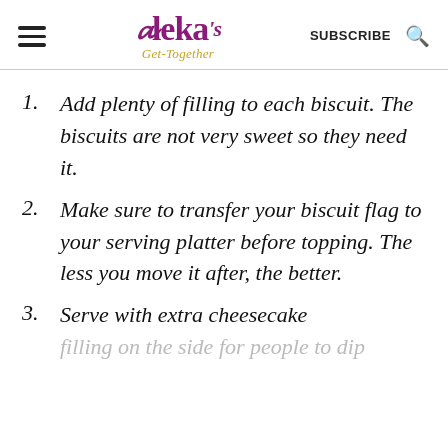Aleka's Get-Together | SUBSCRIBE
1. Add plenty of filling to each biscuit. The biscuits are not very sweet so they need it.
2. Make sure to transfer your biscuit flag to your serving platter before topping. The less you move it after, the better.
3. Serve with extra cheesecake filling on the side for people to dip